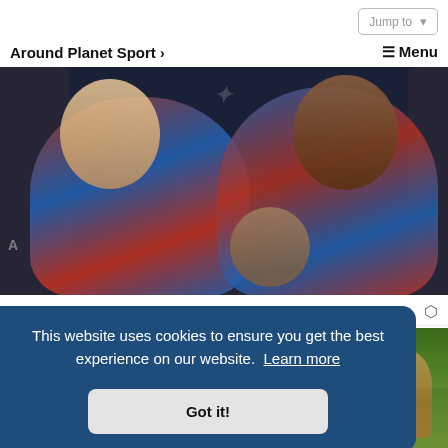Jump to
Around Planet Sport > ☰ Menu
[Figure (photo): Two football players in red and blue Barcelona training kits sitting on team bench seats]
Football365  9h
[Figure (screenshot): Cookie consent banner overlay with text: This website uses cookies to ensure you get the best experience on our website. Learn more. Got it! button.]
This website uses cookies to ensure you get the best experience on our website. Learn more
Got it!